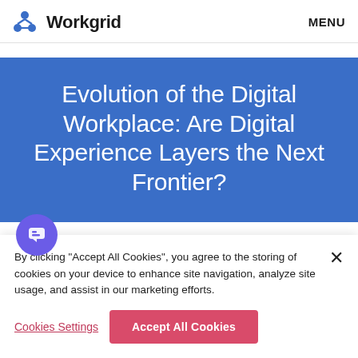Workgrid | MENU
Evolution of the Digital Workplace: Are Digital Experience Layers the Next Frontier?
By clicking “Accept All Cookies”, you agree to the storing of cookies on your device to enhance site navigation, analyze site usage, and assist in our marketing efforts.
Cookies Settings | Accept All Cookies